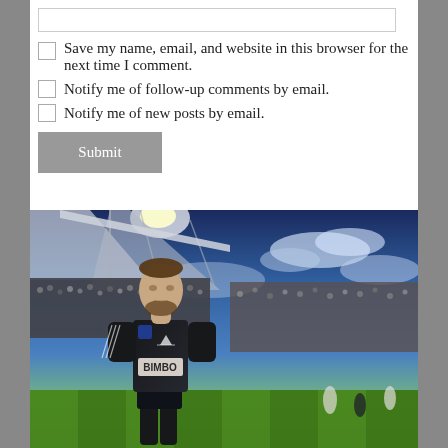[text input box]
Save my name, email, and website in this browser for the next time I comment.
Notify me of follow-up comments by email.
Notify me of new posts by email.
Submit
[Figure (photo): A soccer player wearing a dark navy/black jersey with 'BIMBO' sponsor and an Adidas logo and MLS patch, standing on a soccer field in a packed stadium under a dramatic blue sky with clouds. The player appears to be looking upward. The stadium stands are filled with fans.]